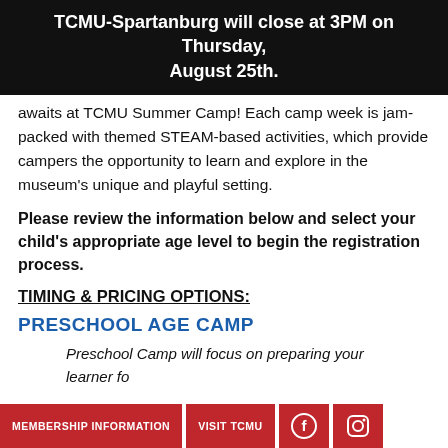TCMU-Spartanburg will close at 3PM on Thursday, August 25th.
awaits at TCMU Summer Camp! Each camp week is jam-packed with themed STEAM-based activities, which provide campers the opportunity to learn and explore in the museum's unique and playful setting.
Please review the information below and select your child's appropriate age level to begin the registration process.
TIMING & PRICING OPTIONS:
PRESCHOOL AGE CAMP
Preschool Camp will focus on preparing your learner fo...
MEMBERSHIP INFORMATION | VISIT TCMU